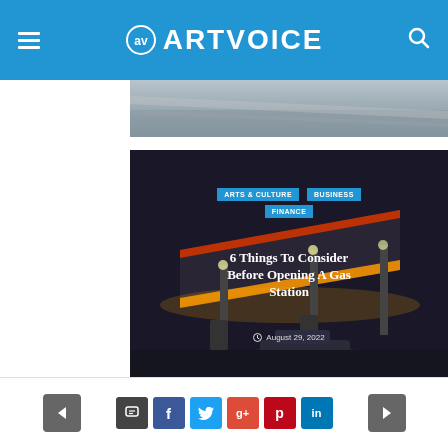ARTVOICE
[Figure (photo): Partial view of a gas station canopy, gray sky background, top strip image]
[Figure (photo): Night photo of a gas station with glowing red and yellow neon canopy, car visible, dark sky background. Overlaid with category tags: ARTS & CULTURE, BUSINESS, FINANCE and article title: 6 Things To Consider Before Opening A Gas Station, dated August 29, 2022]
6 Things To Consider Before Opening A Gas Station
August 29, 2022
< comment f t g+ p in >